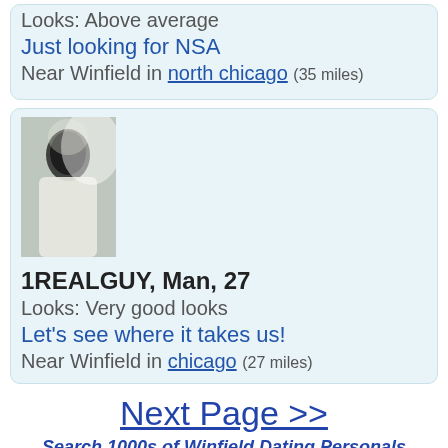Looks: Above average
Just looking for NSA
Near Winfield in north chicago (35 miles)
[Figure (photo): Profile photo of 1REALGUY, a man aged 27, dark image]
1REALGUY, Man, 27
Looks: Very good looks
Let's see where it takes us!
Near Winfield in chicago (27 miles)
Next Page >>
Search 1000s of Winfield Dating Personals
1  2  3  4  5  6  7  8  9  10  11  12  13  14  15  16  17